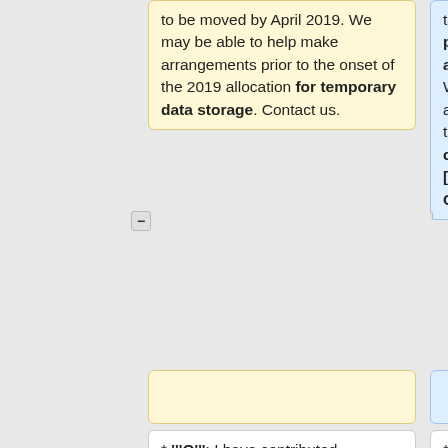to be moved by April 2019. We may be able to help make arrangements prior to the onset of the 2019 allocation for temporary data storage. Contact us.
to be moved by April 2019. This is particularly important if you are a researcher outside Ontario. We may be able to help make arrangements prior to the onset of the 2019 allocation on a case-by-case basis. [mailto:help@cac.queensu.ca Contact us].
* '''Q''': I have contributed hardware to CAC. Does this
* '''Q''': I have contributed hardware to CAC. Does this